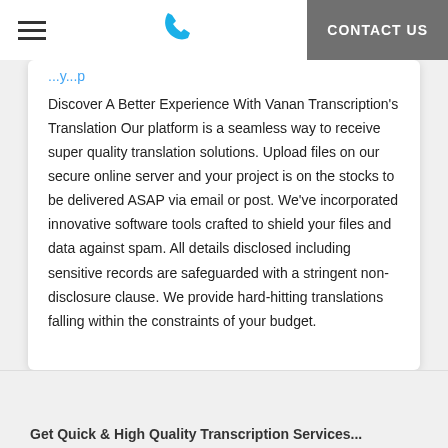≡  📞  CONTACT US
Discover A Better Experience With Vanan Transcription's Translation Our platform is a seamless way to receive super quality translation solutions. Upload files on our secure online server and your project is on the stocks to be delivered ASAP via email or post. We've incorporated innovative software tools crafted to shield your files and data against spam. All details disclosed including sensitive records are safeguarded with a stringent non-disclosure clause. We provide hard-hitting translations falling within the constraints of your budget.
Get Quick & High Quality Transcription Services...